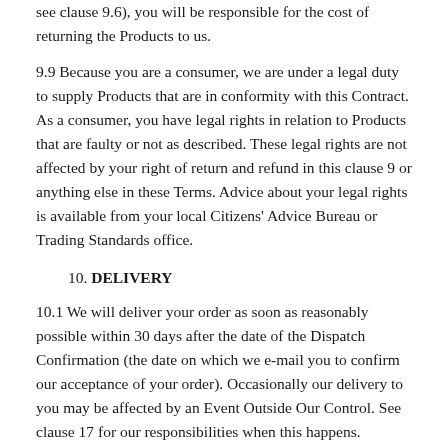see clause 9.6), you will be responsible for the cost of returning the Products to us.
9.9 Because you are a consumer, we are under a legal duty to supply Products that are in conformity with this Contract. As a consumer, you have legal rights in relation to Products that are faulty or not as described. These legal rights are not affected by your right of return and refund in this clause 9 or anything else in these Terms. Advice about your legal rights is available from your local Citizens' Advice Bureau or Trading Standards office.
10. DELIVERY
10.1 We will deliver your order as soon as reasonably possible within 30 days after the date of the Dispatch Confirmation (the date on which we e-mail you to confirm our acceptance of your order). Occasionally our delivery to you may be affected by an Event Outside Our Control. See clause 17 for our responsibilities when this happens.
10.2 Delivery of an Order shall be completed when we deliver the Products to the address you gave us and the Products will be your responsibility from that time.
10.3 If no one is available at your address to take delivery...